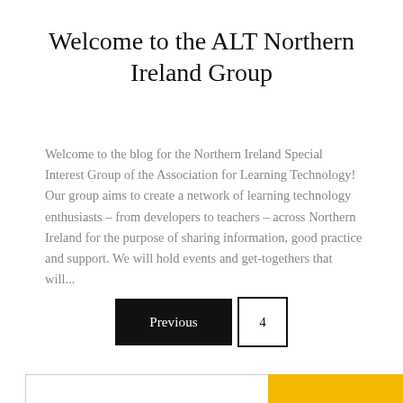Welcome to the ALT Northern Ireland Group
Welcome to the blog for the Northern Ireland Special Interest Group of the Association for Learning Technology! Our group aims to create a network of learning technology enthusiasts – from developers to teachers – across Northern Ireland for the purpose of sharing information, good practice and support. We will hold events and get-togethers that will...